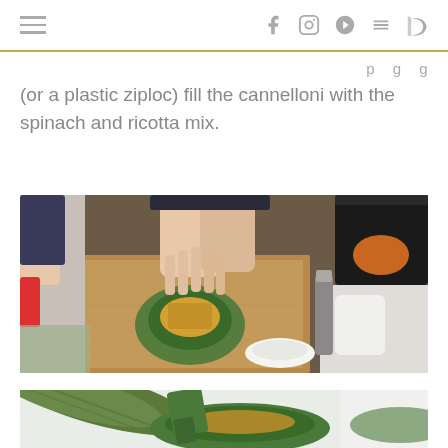≡  f  Instagram  Pinterest  YouTube  RSS
(or a plastic ziploc) fill the cannelloni with the spinach and ricotta mix.
[Figure (photo): Person filling a green flower-shaped ceramic dish with food on a wooden cutting board, kitchen background with bowls and utensils]
[Figure (photo): Close-up of green zucchini and green ceramic dish with food being filled]